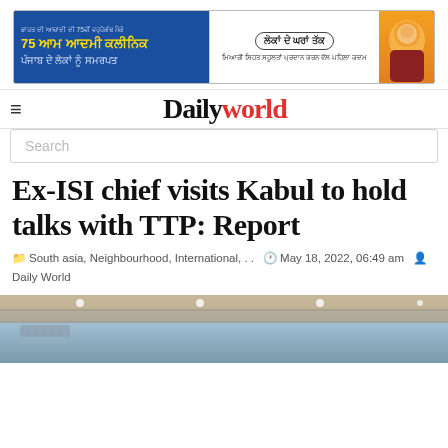[Figure (photo): Advertisement banner in Punjabi language promoting '75 Aam Aadmi Clinic' with yellow text on blue background, and a person's photo on the right side]
Daily world
Search
Ex-ISI chief visits Kabul to hold talks with TTP: Report
South asia, Neighbourhood, International, . .   May 18, 2022, 06:49 am   Daily World
[Figure (photo): Interior ceiling photo of a room with wooden paneling and ceiling lights]